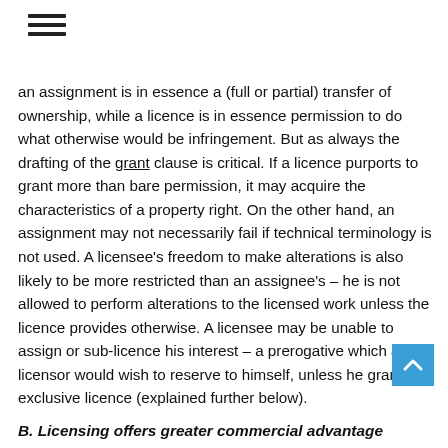≡
an assignment is in essence a (full or partial) transfer of ownership, while a licence is in essence permission to do what otherwise would be infringement. But as always the drafting of the grant clause is critical. If a licence purports to grant more than bare permission, it may acquire the characteristics of a property right. On the other hand, an assignment may not necessarily fail if technical terminology is not used. A licensee's freedom to make alterations is also likely to be more restricted than an assignee's – he is not allowed to perform alterations to the licensed work unless the licence provides otherwise. A licensee may be unable to assign or sub-licence his interest – a prerogative which a licensor would wish to reserve to himself, unless he grants an exclusive licence (explained further below).
B. Licensing offers greater commercial advantage